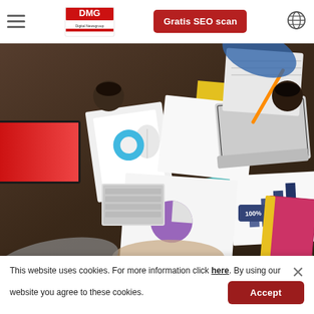Digital Newsgroup – Gratis SEO scan
[Figure (photo): Overhead view of a dark wooden desk with people working, laptops, papers with charts, notebooks, a monitor with red screen, tablet, and office items.]
This website uses cookies. For more information click here. By using our website you agree to these cookies.